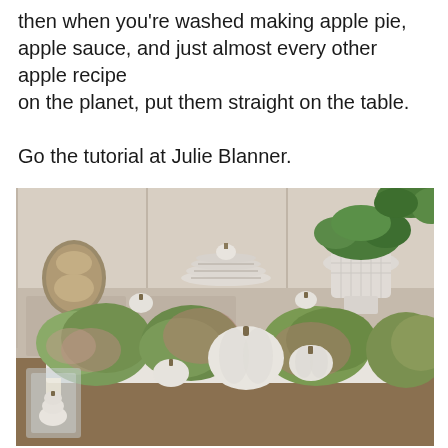then when you're washed making apple pie, apple sauce, and just almost every other apple recipe on the planet, put them straight on the table.

Go the tutorial at Julie Blanner.
[Figure (photo): A fall-themed table centerpiece with white pumpkins, green and pink dried hydrangeas, and moss arranged on a white tray. In the background is a white sideboard with stacked striped plates, a gold lamp, and a white urn with greenery.]